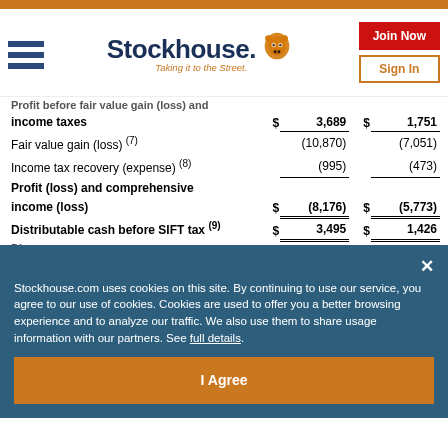Stockhouse — Taking it to the Street.
|  | $ |  | $ |  |
| --- | --- | --- | --- | --- |
| Profit before fair value gain (loss) and income taxes | $ | 3,689 | $ | 1,751 |
| Fair value gain (loss) (7) |  | (10,870) |  | (7,051) |
| Income tax recovery (expense) (8) |  | (995) |  | (473) |
| Profit (loss) and comprehensive income (loss) | $ | (8,176) | $ | (5,773) |
| Distributable cash before SIFT tax (9) | $ | 3,495 | $ | 1,426 |
Stockhouse.com uses cookies on this site. By continuing to use our service, you agree to our use of cookies. Cookies are used to offer you a better browsing experience and to analyze our traffic. We also use them to share usage information with our partners. See full details.